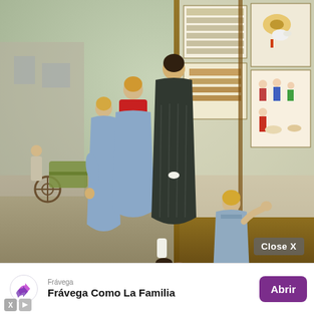[Figure (illustration): Classical oil painting showing three children — two boys and a toddler girl — viewed from behind, peering into a shop window display filled with illustrated posters, toys and colorful images. Set on a street scene with a cart and figures in the background. Painted in warm earth and blue tones.]
Close X
[Figure (advertisement): Mobile advertisement banner for Frávega. Shows the Frávega logo (stylized purple/pink arrow shapes), the text 'Frávega' as source label, bold headline 'Frávega Como La Familia', and a purple 'Abrir' (Open) button. Bottom left has X and play/skip ad icons.]